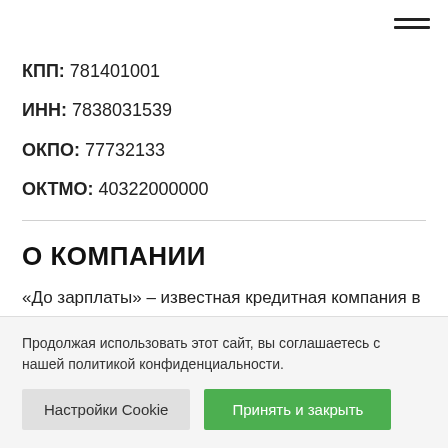[Figure (other): Hamburger menu icon (two horizontal lines) in top-right corner]
КПП: 781401001
ИНН: 7838031539
ОКПО: 77732133
ОКТМО: 40322000000
О КОМПАНИИ
«До зарплаты» – известная кредитная компания в
Продолжая использовать этот сайт, вы соглашаетесь с нашей политикой конфиденциальности.
Настройки Cookie
Принять и закрыть